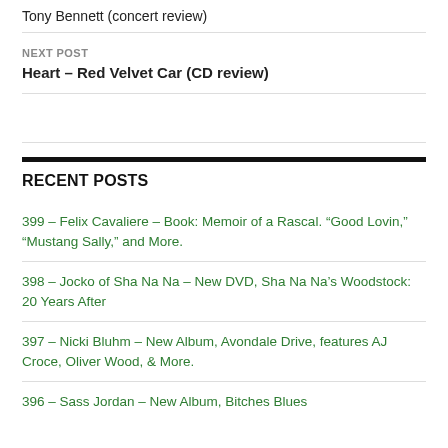Tony Bennett (concert review)
NEXT POST
Heart – Red Velvet Car (CD review)
RECENT POSTS
399 – Felix Cavaliere – Book: Memoir of a Rascal. “Good Lovin,” “Mustang Sally,” and More.
398 – Jocko of Sha Na Na – New DVD, Sha Na Na’s Woodstock: 20 Years After
397 – Nicki Bluhm – New Album, Avondale Drive, features AJ Croce, Oliver Wood, & More.
396 – Sass Jordan – New Album, Bitches Blues